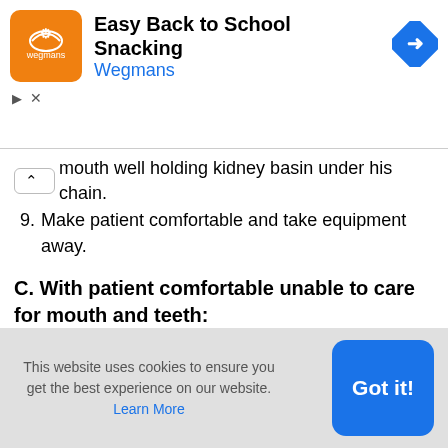[Figure (screenshot): Advertisement banner for Wegmans 'Easy Back to School Snacking' with orange logo, title text, blue Wegmans link, blue diamond arrow icon, and ad controls (play/close).]
mouth well holding kidney basin under his chain.
9. Make patient comfortable and take equipment away.
C. With patient comfortable unable to care for mouth and teeth:
1. Turn patient’s head to one side near the edge of the bed.
2. Pl...
This website uses cookies to ensure you get the best experience on our website. Learn More